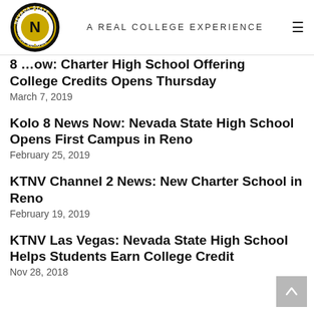A REAL COLLEGE EXPERIENCE
8 …ow: Charter High School Offering College Credits Opens Thursday
March 7, 2019
Kolo 8 News Now: Nevada State High School Opens First Campus in Reno
February 25, 2019
KTNV Channel 2 News: New Charter School in Reno
February 19, 2019
KTNV Las Vegas: Nevada State High School Helps Students Earn College Credit
Nov 28, 2018